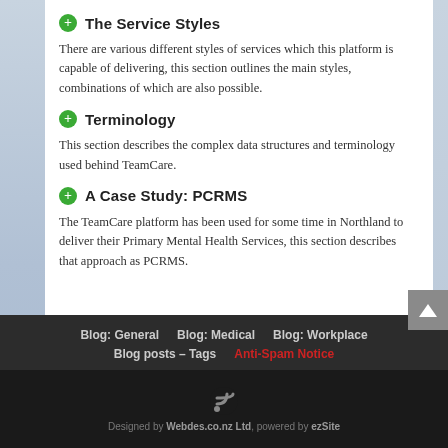The Service Styles
There are various different styles of services which this platform is capable of delivering, this section outlines the main styles, combinations of which are also possible.
Terminology
This section describes the complex data structures and terminology used behind TeamCare.
A Case Study: PCRMS
The TeamCare platform has been used for some time in Northland to deliver their Primary Mental Health Services, this section describes that approach as PCRMS.
Blog: General   Blog: Medical   Blog: Workplace   Blog posts – Tags   Anti-Spam Notice   Designed by Webdes.co.nz Ltd, powered by ezSite